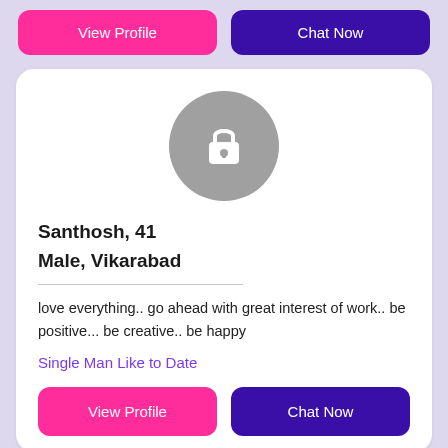[Figure (screenshot): Top buttons: View Profile (pink) and Chat Now (dark purple)]
[Figure (illustration): Locked profile avatar: gray circle with white padlock icon]
Santhosh, 41
Male, Vikarabad
love everything.. go ahead with great interest of work.. be positive... be creative.. be happy
Single Man Like to Date
[Figure (screenshot): Bottom buttons: View Profile (pink) and Chat Now (dark purple)]